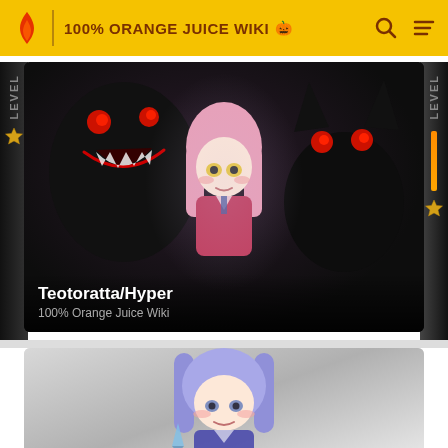100% ORANGE JUICE WIKI
[Figure (screenshot): Dark anime-style card image showing a pink-haired girl surrounded by dark shadowy creatures with red eyes. Title overlay reads 'Teotoratta/Hyper' and subtitle '100% Orange Juice Wiki'. Side panels show 'level' text and gold stars.]
Teotoratta/Hyper
100% Orange Juice Wiki
[Figure (screenshot): Lighter colored anime-style card showing a blue/lavender-haired girl character against a grey gradient background.]